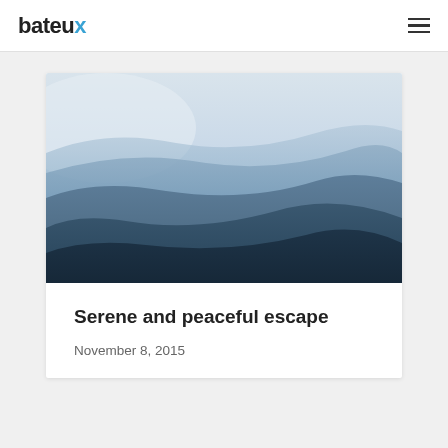bateaux
[Figure (photo): Misty mountain ridges layered in blue-grey hues, fading into a pale sky. Serene landscape photograph.]
Serene and peaceful escape
November 8, 2015